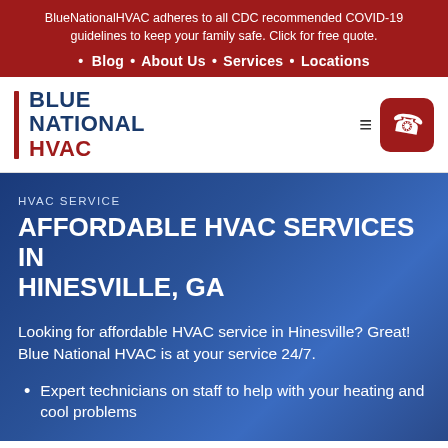BlueNationalHVAC adheres to all CDC recommended COVID-19 guidelines to keep your family safe. Click for free quote.
Blog
About Us
Services
Locations
[Figure (logo): Blue National HVAC logo with red vertical bar and blue/red bold text]
HVAC SERVICE
AFFORDABLE HVAC SERVICES IN HINESVILLE, GA
Looking for affordable HVAC service in Hinesville? Great! Blue National HVAC is at your service 24/7.
Expert technicians on staff to help with your heating and cool problems